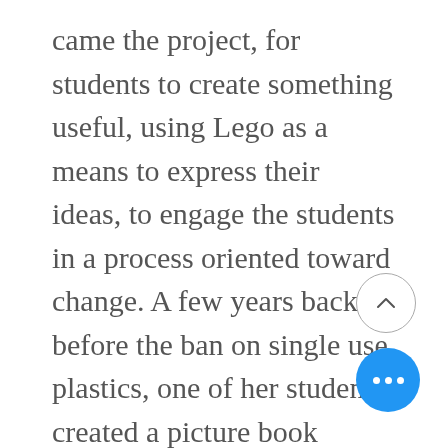came the project, for students to create something useful, using Lego as a means to express their ideas, to engage the students in a process oriented toward change. A few years back before the ban on single use plastics, one of her students created a picture book illustrating the seven generation sustainability perspective. Miriam asked to teach the concept to the school and then collaboratively designed an